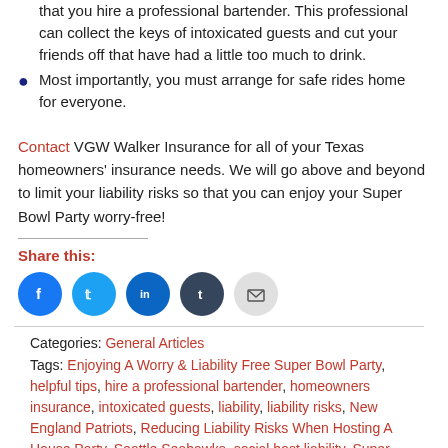that you hire a professional bartender. This professional can collect the keys of intoxicated guests and cut your friends off that have had a little too much to drink.
Most importantly, you must arrange for safe rides home for everyone.
Contact VGW Walker Insurance for all of your Texas homeowners' insurance needs. We will go above and beyond to limit your liability risks so that you can enjoy your Super Bowl Party worry-free!
Share this:
Categories: General Articles
Tags: Enjoying A Worry & Liability Free Super Bowl Party, helpful tips, hire a professional bartender, homeowners insurance, intoxicated guests, liability, liability risks, New England Patriots, Reducing Liability Risks When Hosting A House Party, Seattle Seahawks, social host liability, Super Bowl, Super Bowl party, Super Bowl Party and Liability